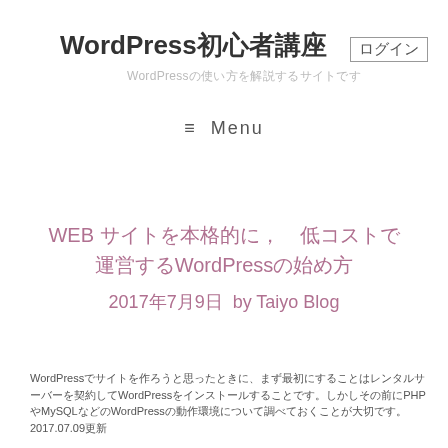WordPress初心者講座　ログイン
WordPressの使い方を解説するサイトです
≡  Menu
WEBサイトを本格的に，低コストで運営するWordPressの始め方
2017年7月9日  by Taiyo Blog
WordPressでサイトを作ろうと思ったときに、まず最初にすることはレンタルサーバーを契約してWordPressをインストールすることです。しかしその前にPHPやMySQLなどのWordPressの動作環境について調べておくことが大切です。2017.07.09更新